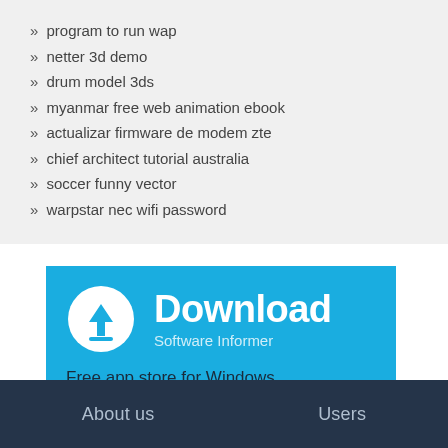» program to run wap
» netter 3d demo
» drum model 3ds
» myanmar free web animation ebook
» actualizar firmware de modem zte
» chief architect tutorial australia
» soccer funny vector
» warpstar nec wifi password
[Figure (infographic): Download Software Informer banner with blue background, download icon, title 'Download', subtitle 'Software Informer', and tagline 'Free app store for Windows']
About us    Users